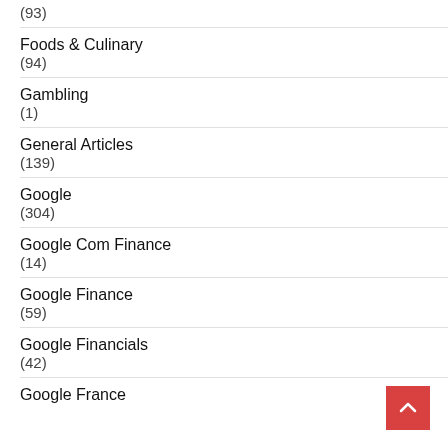(93)
Foods & Culinary
(94)
Gambling
(1)
General Articles
(139)
Google
(304)
Google Com Finance
(14)
Google Finance
(59)
Google Financials
(42)
Google France